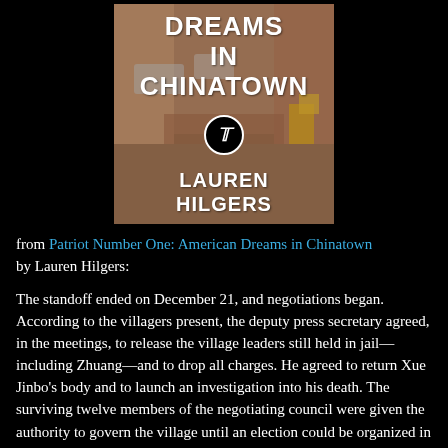[Figure (illustration): Book cover of 'Patriot Number One: American Dreams in Chinatown' by Lauren Hilgers, featuring a street scene photo with bold white text and a New York Times logo medallion.]
from Patriot Number One: American Dreams in Chinatown by Lauren Hilgers:
The standoff ended on December 21, and negotiations began. According to the villagers present, the deputy press secretary agreed, in the meetings, to release the village leaders still held in jail—including Zhuang—and to drop all charges. He agreed to return Xue Jinbo's body and to launch an investigation into his death. The surviving twelve members of the negotiating council were given the authority to govern the village until an election could be organized in February or March. It was the first time in modern Chinese history that a protesting village had won this kind of